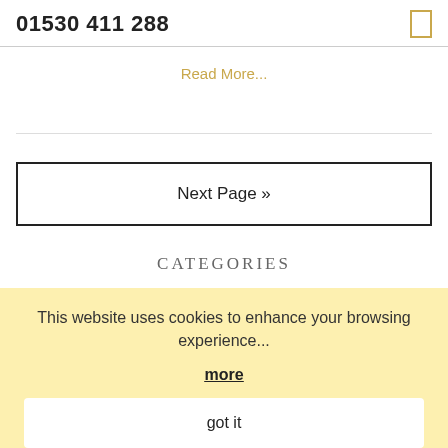01530 411 288
Read More...
Next Page »
CATEGORIES
This website uses cookies to enhance your browsing experience...
more
got it